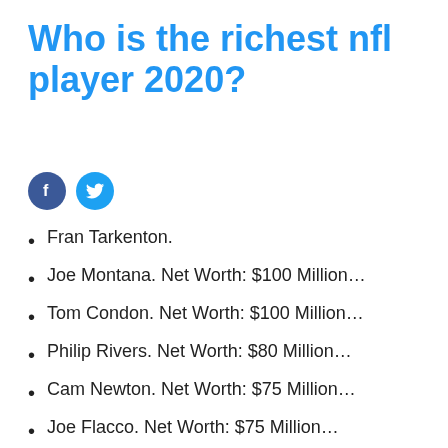Who is the richest nfl player 2020?
[Figure (illustration): Facebook and Twitter social share icons]
Fran Tarkenton.
Joe Montana. Net Worth: $100 Million…
Tom Condon. Net Worth: $100 Million…
Philip Rivers. Net Worth: $80 Million…
Cam Newton. Net Worth: $75 Million…
Joe Flacco. Net Worth: $75 Million…
Kirk Cousins. Net Worth: $70 Million…
Matt Ryan. Net Worth: $70 Million…